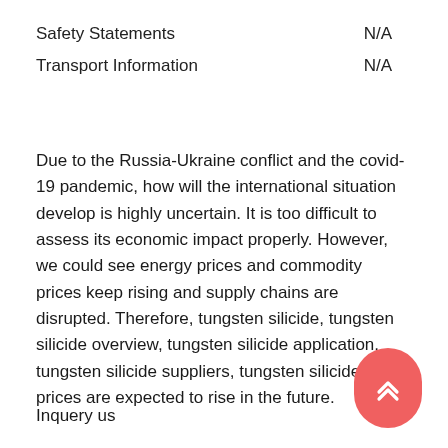|  |  |
| --- | --- |
| Safety Statements | N/A |
| Transport Information | N/A |
Due to the Russia-Ukraine conflict and the covid-19 pandemic, how will the international situation develop is highly uncertain. It is too difficult to assess its economic impact properly. However, we could see energy prices and commodity prices keep rising and supply chains are disrupted. Therefore, tungsten silicide, tungsten silicide overview, tungsten silicide application, tungsten silicide suppliers, tungsten silicide price prices are expected to rise in the future.
Inquery us